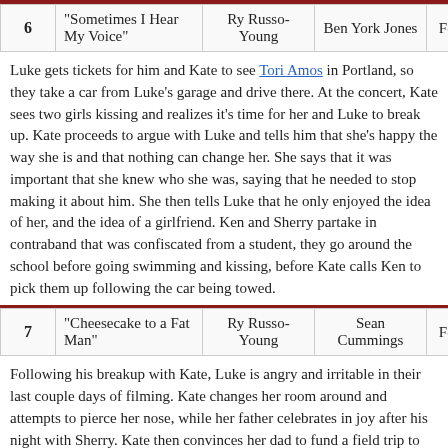| # | Title | Director | Writer | Air Date |
| --- | --- | --- | --- | --- |
| 6 | "Sometimes I Hear My Voice" | Ry Russo-Young | Ben York Jones | February 16, 2018 |
Luke gets tickets for him and Kate to see Tori Amos in Portland, so they take a car from Luke's garage and drive there. At the concert, Kate sees two girls kissing and realizes it's time for her and Luke to break up. Kate proceeds to argue with Luke and tells him that she's happy the way she is and that nothing can change her. She says that it was important that she knew who she was, saying that he needed to stop making it about him. She then tells Luke that he only enjoyed the idea of her, and the idea of a girlfriend. Ken and Sherry partake in contraband that was confiscated from a student, they go around the school before going swimming and kissing, before Kate calls Ken to pick them up following the car being towed.
| # | Title | Director | Writer | Air Date |
| --- | --- | --- | --- | --- |
| 7 | "Cheesecake to a Fat Man" | Ry Russo-Young | Sean Cummings | February 16, 2018 |
Following his breakup with Kate, Luke is angry and irritable in their last couple days of filming. Kate changes her room around and attempts to pierce her nose, while her father celebrates in joy after his night with Sherry. Kate then convinces her dad to fund a field trip to Dominguez Rocks, to serve as a backdrop for a part of their film. Meanwhile, Oliver, Emaline, and Tyler experiment